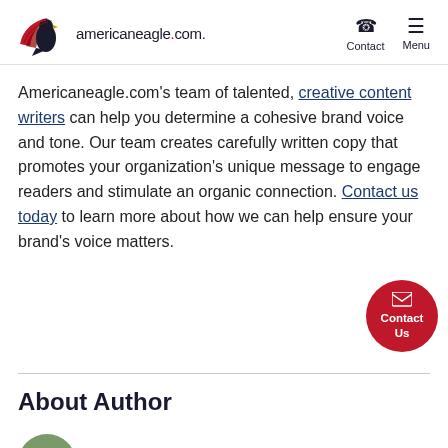americaneagle.com. | Contact | Menu
Americaneagle.com's team of talented, creative content writers can help you determine a cohesive brand voice and tone. Our team creates carefully written copy that promotes your organization's unique message to engage readers and stimulate an organic connection. Contact us today to learn more about how we can help ensure your brand's voice matters.
[Figure (other): Red circular Contact Us button with envelope icon]
About Author
[Figure (photo): Circular author headshot photo, partially visible at bottom of page]